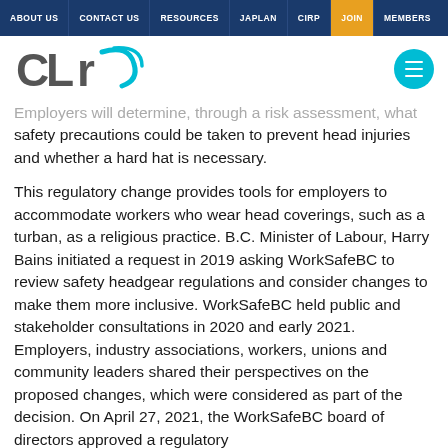ABOUT US | CONTACT US | RESOURCES | JAPLAN | CIRP | JOIN | MEMBERS
[Figure (logo): CLR logo with cyan arc and text, plus cyan hamburger menu circle on the right]
Employers will determine, through a risk assessment, what safety precautions could be taken to prevent head injuries and whether a hard hat is necessary.
This regulatory change provides tools for employers to accommodate workers who wear head coverings, such as a turban, as a religious practice. B.C. Minister of Labour, Harry Bains initiated a request in 2019 asking WorkSafeBC to review safety headgear regulations and consider changes to make them more inclusive. WorkSafeBC held public and stakeholder consultations in 2020 and early 2021. Employers, industry associations, workers, unions and community leaders shared their perspectives on the proposed changes, which were considered as part of the decision. On April 27, 2021, the WorkSafeBC board of directors approved a regulatory